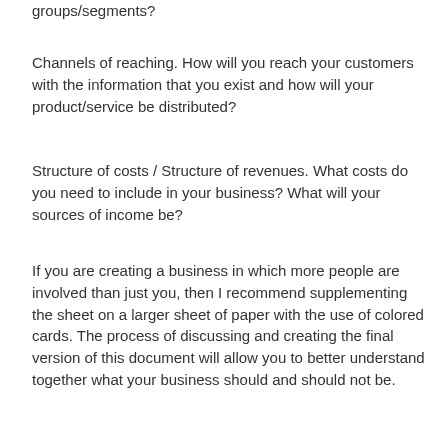groups/segments?
Channels of reaching. How will you reach your customers with the information that you exist and how will your product/service be distributed?
Structure of costs / Structure of revenues. What costs do you need to include in your business? What will your sources of income be?
If you are creating a business in which more people are involved than just you, then I recommend supplementing the sheet on a larger sheet of paper with the use of colored cards. The process of discussing and creating the final version of this document will allow you to better understand together what your business should and should not be.